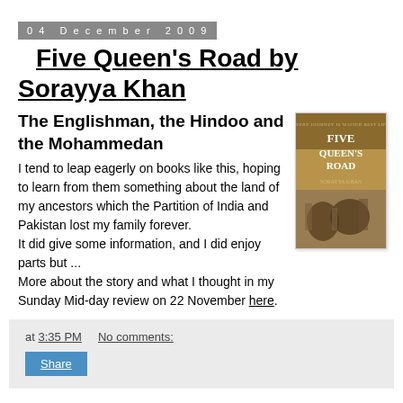04 December 2009
Five Queen's Road by Sorayya Khan
The Englishman, the Hindoo and the Mohammedan
[Figure (photo): Book cover of 'Five Queen's Road' by Sorayya Khan, showing a cityscape with historic buildings and warm tones.]
I tend to leap eagerly on books like this, hoping to learn from them something about the land of my ancestors which the Partition of India and Pakistan lost my family forever.
It did give some information, and I did enjoy parts but ...
More about the story and what I thought in my Sunday Mid-day review on 22 November here.
at 3:35 PM    No comments:
Share
30 November 2009